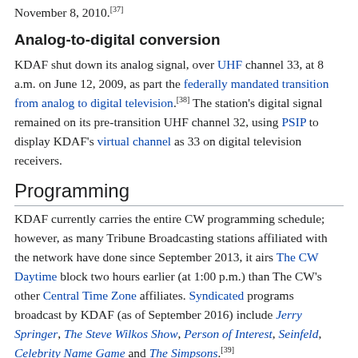November 8, 2010.[37]
Analog-to-digital conversion
KDAF shut down its analog signal, over UHF channel 33, at 8 a.m. on June 12, 2009, as part the federally mandated transition from analog to digital television.[38] The station's digital signal remained on its pre-transition UHF channel 32, using PSIP to display KDAF's virtual channel as 33 on digital television receivers.
Programming
KDAF currently carries the entire CW programming schedule; however, as many Tribune Broadcasting stations affiliated with the network have done since September 2013, it airs The CW Daytime block two hours earlier (at 1:00 p.m.) than The CW's other Central Time Zone affiliates. Syndicated programs broadcast by KDAF (as of September 2016) include Jerry Springer, The Steve Wilkos Show, Person of Interest, Seinfeld, Celebrity Name Game and The Simpsons.[39]
News operation